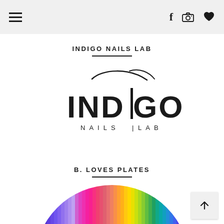≡  f  📷  ♥
INDIGO NAILS LAB
[Figure (logo): Indigo Nails Lab logo — stylized text 'INDIGO' with 'NAILS | LAB' below and a curved swoosh above in black]
B. LOVES PLATES
[Figure (photo): Rainbow-colored circular plate product showing a spectrum of vertical stripes from blue/purple on the left to red/pink at the top to yellow/green on the right, with a white geometric heart/diamond shape overlay in the center bottom]